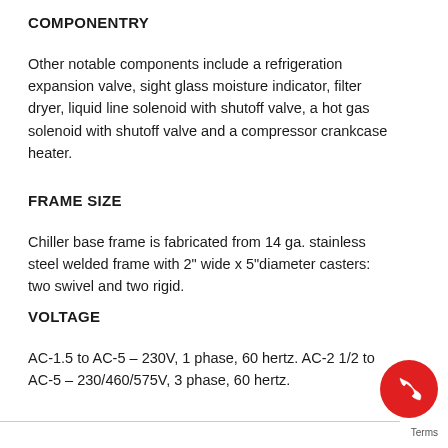COMPONENTRY
Other notable components include a refrigeration expansion valve, sight glass moisture indicator, filter dryer, liquid line solenoid with shutoff valve, a hot gas solenoid with shutoff valve and a compressor crankcase heater.
FRAME SIZE
Chiller base frame is fabricated from 14 ga. stainless steel welded frame with 2" wide x 5"diameter casters: two swivel and two rigid.
VOLTAGE
AC-1.5 to AC-5 – 230V, 1 phase, 60 hertz. AC-2 1/2 to AC-5 – 230/460/575V, 3 phase, 60 hertz.
[Figure (other): Red circular phone/call button icon in bottom right corner]
Terms